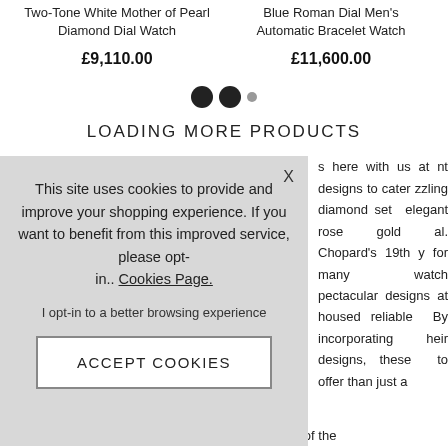Two-Tone White Mother of Pearl Diamond Dial Watch
Blue Roman Dial Men's Automatic Bracelet Watch
£9,110.00
£11,600.00
[Figure (other): Pagination dots: two large dark circles and one small grey circle]
LOADING MORE PRODUCTS
This site uses cookies to provide and improve your shopping experience. If you want to benefit from this improved service, please opt-in.. Cookies Page.
I opt-in to a better browsing experience
ACCEPT COOKIES
s here with us at nt designs to cater zzling diamond set legant rose gold al. Chopard's 19th y for many watch pectacular designs at housed reliable By incorporating heir designs, these to offer than just a tool for timekeeping. They are special instruments of the